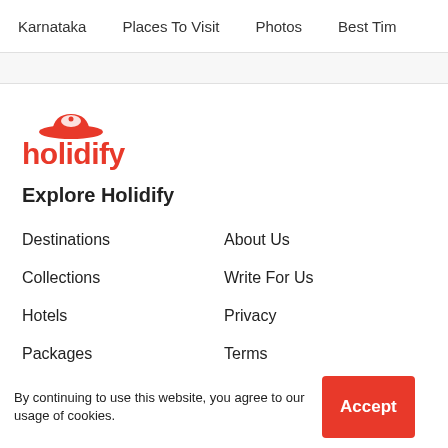Karnataka   Places To Visit   Photos   Best Tim
[Figure (logo): Holidify logo - red text with a stylized hat icon]
Explore Holidify
Destinations
About Us
Collections
Write For Us
Hotels
Privacy
Packages
Terms
Currency
By continuing to use this website, you agree to our usage of cookies.